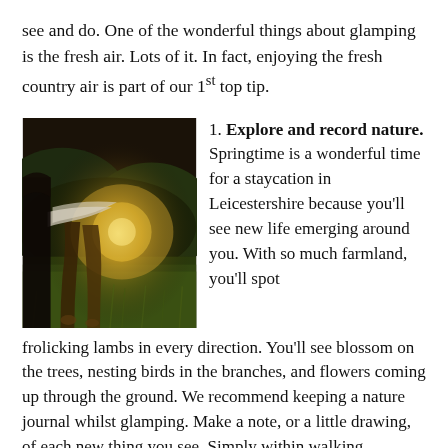see and do. One of the wonderful things about glamping is the fresh air. Lots of it. In fact, enjoying the fresh country air is part of our 1st top tip.
[Figure (photo): A photo of a person's bare legs and feet standing on green grass in golden sunlight, with a blurred landscape background.]
Explore and record nature. Springtime is a wonderful time for a staycation in Leicestershire because you'll see new life emerging around you. With so much farmland, you'll spot frolicking lambs in every direction. You'll see blossom on the trees, nesting birds in the branches, and flowers coming up through the ground. We recommend keeping a nature journal whilst glamping. Make a note, or a little drawing, of each new thing you see. Simply within walking